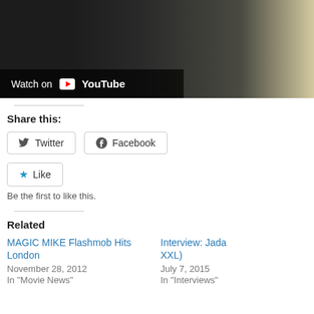[Figure (screenshot): YouTube video thumbnail showing two people, with 'Watch on YouTube' overlay in bottom left]
Share this:
Twitter
Facebook
Like
Be the first to like this.
Related
MAGIC MIKE Flashmob Hits London
November 28, 2012
In "Movie News"
Interview: Jada XXL)
July 7, 2015
In "Interviews"